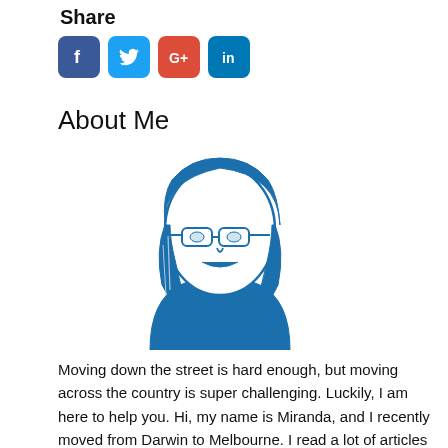Share
[Figure (illustration): Social media share buttons: Facebook, Twitter, Google+, LinkedIn — blue rounded square icons]
About Me
[Figure (illustration): Line art illustration of a woman with glasses and shoulder-length hair, drawn in blue]
Moving down the street is hard enough, but moving across the country is super challenging. Luckily, I am here to help you. Hi, my name is Miranda, and I recently moved from Darwin to Melbourne. I read a lot of articles on how to